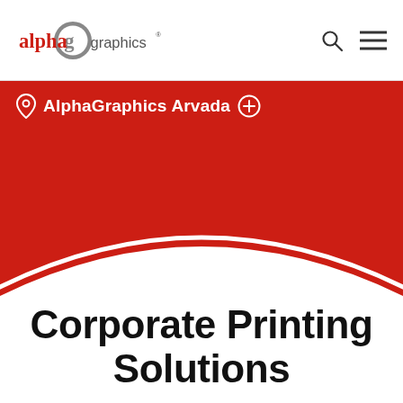[Figure (logo): AlphaGraphics logo — 'alpha' in red serif, 'graphics' in grey sans-serif, with a circular 'g' emblem]
[Figure (infographic): Red hero banner with location pin icon and 'AlphaGraphics Arvada' text with a plus-circle icon, and a white curved arch at the bottom]
Corporate Printing Solutions